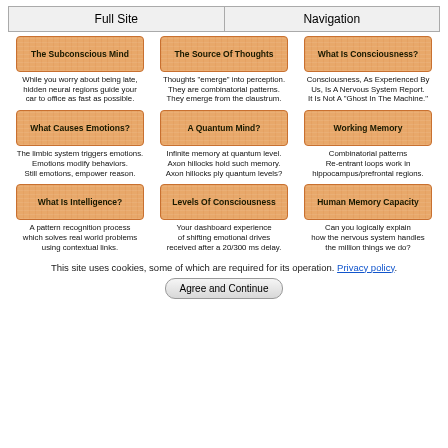Full Site | Navigation
[Figure (infographic): 3x3 grid of topic tiles with descriptions. Row 1: The Subconscious Mind, The Source Of Thoughts, What Is Consciousness?. Row 2: What Causes Emotions?, A Quantum Mind?, Working Memory. Row 3: What Is Intelligence?, Levels Of Consciousness, Human Memory Capacity.]
This site uses cookies, some of which are required for its operation. Privacy policy.
Agree and Continue